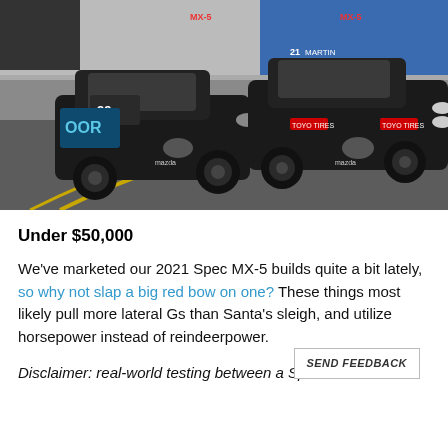[Figure (photo): Two black Mazda MX-5 Spec race cars (#99 and #21 Martin) on a race track, cornering on asphalt with yellow track markings, grandstand structure and blue element visible in background.]
Under $50,000
We've marketed our 2021 Spec MX-5 builds quite a bit lately, so why not slap a big red bow on one? These things most likely pull more lateral Gs than Santa's sleigh, and utilize horsepower instead of reindeerpower.
Disclaimer: real-world testing between a Sp